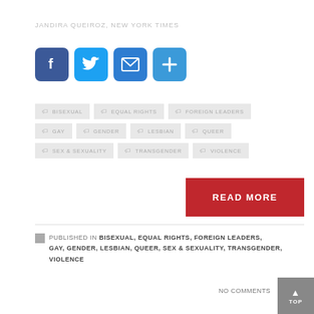JANDIRA QUEIROZ, NEW YORK TIMES
[Figure (other): Social sharing icons: Facebook (blue), Twitter (blue), Email (blue), Share/Plus (blue)]
BISEXUAL
EQUAL RIGHTS
FOREIGN LEADERS
GAY
GENDER
LESBIAN
QUEER
SEX & SEXUALITY
TRANSGENDER
VIOLENCE
READ MORE
PUBLISHED IN BISEXUAL, EQUAL RIGHTS, FOREIGN LEADERS, GAY, GENDER, LESBIAN, QUEER, SEX & SEXUALITY, TRANSGENDER, VIOLENCE
NO COMMENTS